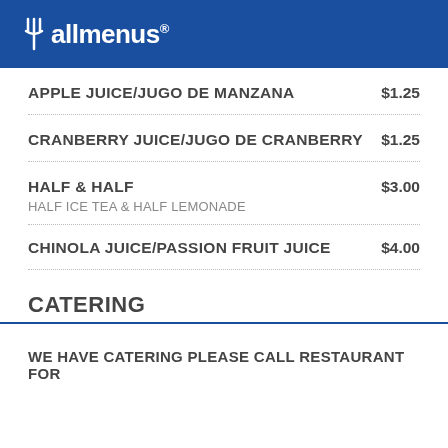allmenus
APPLE JUICE/JUGO DE MANZANA   $1.25
CRANBERRY JUICE/JUGO DE CRANBERRY   $1.25
HALF & HALF   $3.00
HALF ICE TEA & HALF LEMONADE
CHINOLA JUICE/PASSION FRUIT JUICE   $4.00
CATERING
WE HAVE CATERING PLEASE CALL RESTAURANT FOR